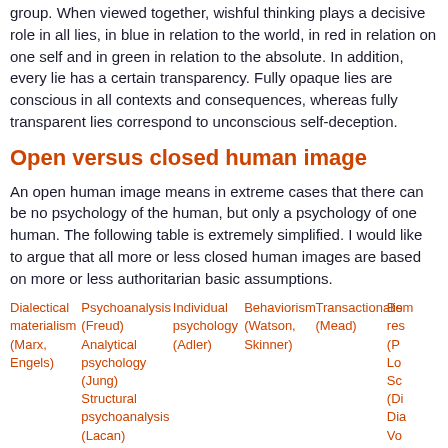group. When viewed together, wishful thinking plays a decisive role in all lies, in blue in relation to the world, in red in relation on one self and in green in relation to the absolute. In addition, every lie has a certain transparency. Fully opaque lies are conscious in all contexts and consequences, whereas fully transparent lies correspond to unconscious self-deception.
Open versus closed human image
An open human image means in extreme cases that there can be no psychology of the human, but only a psychology of one human. The following table is extremely simplified. I would like to argue that all more or less closed human images are based on more or less authoritarian basic assumptions.
| Dialectical materialism (Marx, Engels) | Psychoanalysis (Freud) Analytical psychology (Jung) Structural psychoanalysis (Lacan) | Individual psychology (Adler) | Behaviorism (Watson, Skinner) | Transactionalism (Mead) | Be... res... (P... Lo... Sc... (Di... Dia... Vo... |
| --- | --- | --- | --- | --- | --- |
|  | Neo-Freudianism (Fromm, Erikson) |  |  |  |  |